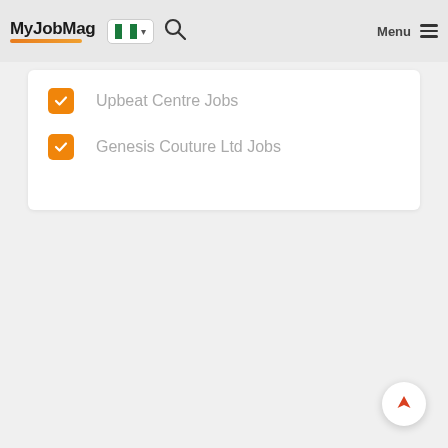MyJobMag — navigation header with logo, Nigeria flag selector, search icon, and Menu button
Upbeat Centre Jobs
Genesis Couture Ltd Jobs
[Figure (other): Scroll-to-top button: circular white button with an orange-red upward arrow/location pointer icon, bottom-right corner]